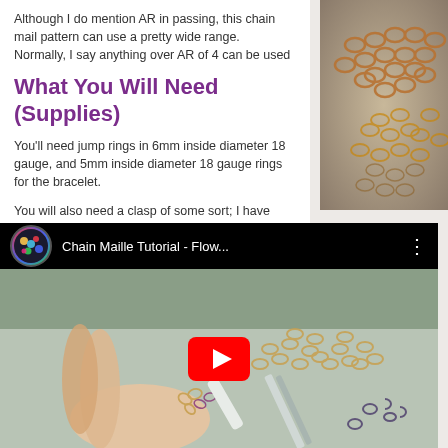Although I do mention AR in passing, this chain mail pattern can use a pretty wide range.  Normally, I say anything over AR of 4 can be used
What You Will Need (Supplies)
You'll need jump rings in 6mm inside diameter 18 gauge, and 5mm inside diameter 18 gauge rings for the bracelet.
You will also need a clasp of some sort; I have used an “S” clasp, but you can use whatever you wish.
[Figure (screenshot): YouTube video embed titled 'Chain Maille Tutorial - Flow...' showing hands working with chain mail jewelry and pliers, with a red YouTube play button overlay]